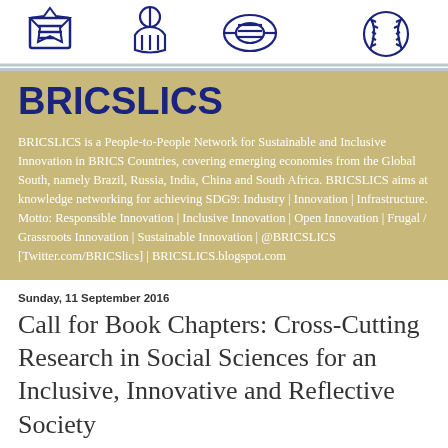[Figure (illustration): Blue line-art icons on white background: diploma/scroll, hand with coin, rolled scroll, and baseball/sport item forming a decorative header banner]
BRICSLICS
BRICSLICS is a People-to-People Network for Sustainable and Inclusive Innovation in BRICS Countries, covering emerging economies from the Global South, namely Brazil, Russia, India, China and South Africa. BRICSLICS aims at knowledge networking for achieving SDG9: Industry | Innovation | Infrastructure. Motto: Responsible Innovation | Inclusive Innovation | Open Innovation | Frugal / Grassroots Innovation | Sustainable Innovation | @BRICSLICS [Twitter.com/BRICSlics] | BRICSLICS.blogspot.com
Sunday, 11 September 2016
Call for Book Chapters: Cross-Cutting Research in Social Sciences for an Inclusive, Innovative and Reflective Society